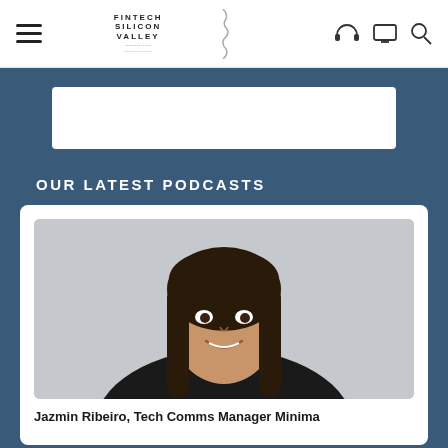FINTECH SILICON VALLEY — navigation header with hamburger menu, logo, headphone icon, monitor icon, search icon
[Figure (screenshot): Top banner section with white card on dark blue background]
OUR LATEST PODCASTS
[Figure (photo): Portrait photo of Jazmin Ribeiro, a young woman with long dark hair wearing a black top, smiling, against a grey background]
Jazmin Ribeiro, Tech Comms Manager Minima